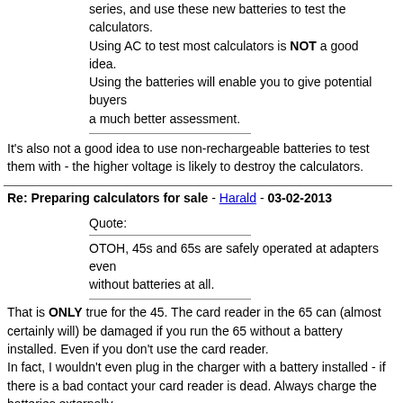series, and use these new batteries to test the calculators. Using AC to test most calculators is NOT a good idea. Using the batteries will enable you to give potential buyers a much better assessment.
It's also not a good idea to use non-rechargeable batteries to test them with - the higher voltage is likely to destroy the calculators.
Re: Preparing calculators for sale - Harald - 03-02-2013
Quote: OTOH, 45s and 65s are safely operated at adapters even without batteries at all.
That is ONLY true for the 45. The card reader in the 65 can (almost certainly will) be damaged if you run the 65 without a battery installed. Even if you don't use the card reader.
In fact, I wouldn't even plug in the charger with a battery installed - if there is a bad contact your card reader is dead. Always charge the batteries externally.
Re: Preparing calculators for sale - Harald - 03-02-2013
I have not heard of a single case of an HP calculator being damage by